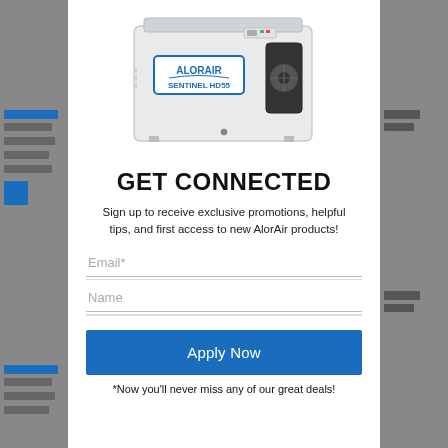[Figure (photo): AlorAir Sentinel HD55 dehumidifier product photo — white boxy unit with blue AlorAir Sentinel HD55 logo, ventilation fan on right side]
GET CONNECTED
Sign up to receive exclusive promotions, helpful tips, and first access to new AlorAir products!
Email*
Name
Apply Now
*Now you'll never miss any of our great deals!